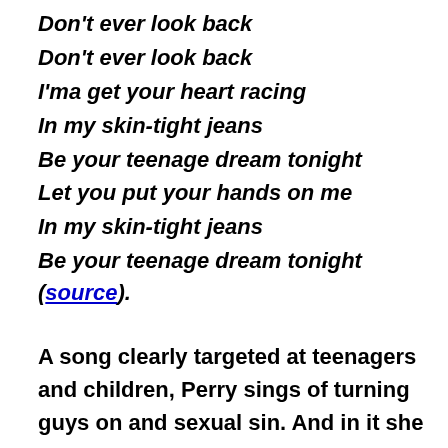Don't ever look back
Don't ever look back
I'ma get your heart racing
In my skin-tight jeans
Be your teenage dream tonight
Let you put your hands on me
In my skin-tight jeans
Be your teenage dream tonight (source).
A song clearly targeted at teenagers and children, Perry sings of turning guys on and sexual sin. And in it she